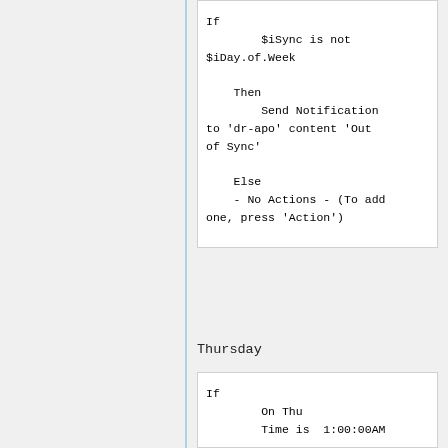If
        $iSync is not $iDay.of.Week

    Then
        Send Notification to 'dr-apo' content 'Out of Sync'

    Else
    - No Actions - (To add one, press 'Action')
Thursday
If
        On Thu
        Time is  1:00:00AM

    Then
        $iSync  = 4
        Run Program 'Sync...